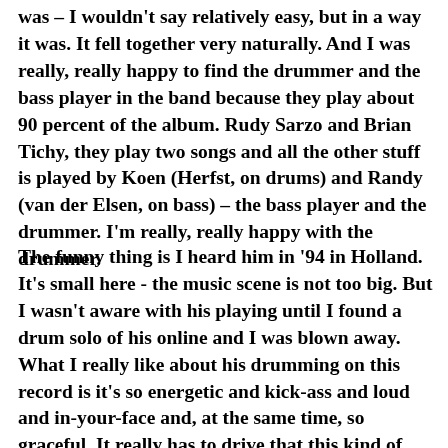was – I wouldn't say relatively easy, but in a way it was. It fell together very naturally. And I was really, really happy to find the drummer and the bass player in the band because they play about 90 percent of the album. Rudy Sarzo and Brian Tichy, they play two songs and all the other stuff is played by Koen (Herfst, on drums) and Randy (van der Elsen, on bass) – the bass player and the drummer. I'm really, really happy with the drummer.
The funny thing is I heard him in '94 in Holland. It's small here - the music scene is not too big. But I wasn't aware with his playing until I found a drum solo of his online and I was blown away. What I really like about his drumming on this record is it's so energetic and kick-ass and loud and in-your-face and, at the same time, so graceful. It really has to drive that this kind of